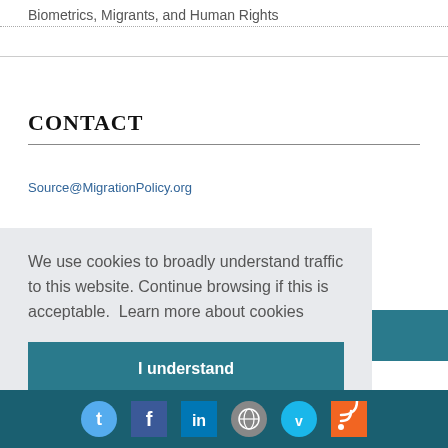Biometrics, Migrants, and Human Rights
CONTACT
Source@MigrationPolicy.org
We use cookies to broadly understand traffic to this website. Continue browsing if this is acceptable.  Learn more about cookies
I understand